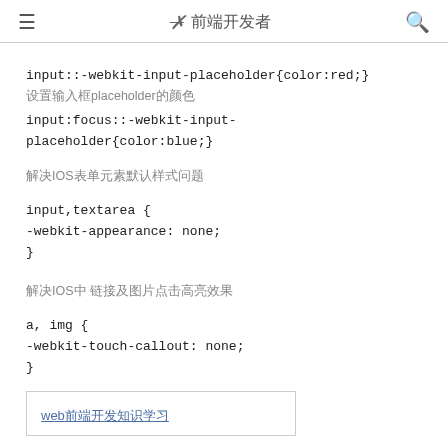≡  ✕ 前端开发者  🔍
input::-webkit-input-placeholder{color:red;}
设置输入框placeholder的颜色
input:focus::-webkit-input-placeholder{color:blue;}
当输入框获取焦点时placeholder的颜色
解决IOS表单元素默认样式问题
input,textarea {
-webkit-appearance: none;
}
解决IOS中 链接及图片点击高亮效果
a, img {
-webkit-touch-callout: none;
}
web前端开发知识学习